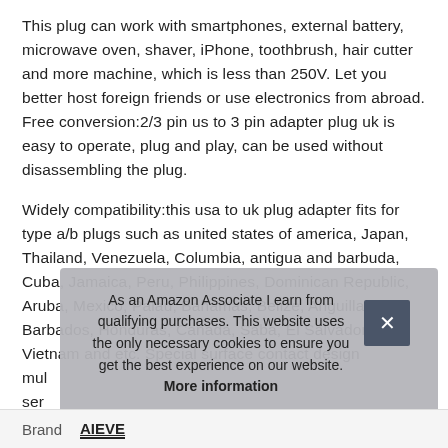This plug can work with smartphones, external battery, microwave oven, shaver, iPhone, toothbrush, hair cutter and more machine, which is less than 250V. Let you better host foreign friends or use electronics from abroad. Free conversion:2/3 pin us to 3 pin adapter plug uk is easy to operate, plug and play, can be used without disassembling the plug.
Widely compatibility:this usa to uk plug adapter fits for type a/b plugs such as united states of america, Japan, Thailand, Venezuela, Columbia, antigua and barbuda, Cuba, Jamaica, Peru, Philippines, Dominican Republic, Aruba, Mexico, Palau, Bahamas, Belize, Anguilla, Barbados, Honduras, Canada, Saba, El Salvador, Vietnam and etc. Special surface contact design mul... ser...
As an Amazon Associate I earn from qualifying purchases. This website uses the only necessary cookies to ensure you get the best experience on our website. More information
| Brand |  |
| --- | --- |
| Brand | AIEVE |